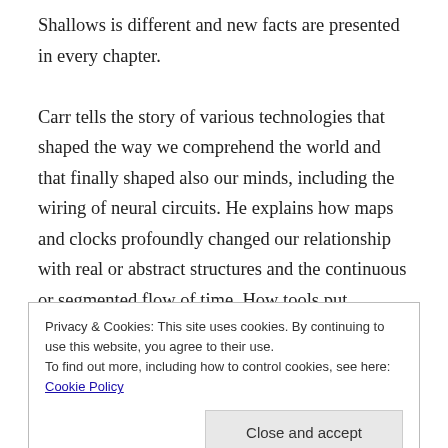Shallows is different and new facts are presented in every chapter.
Carr tells the story of various technologies that shaped the way we comprehend the world and that finally shaped also our minds, including the wiring of neural circuits. He explains how maps and clocks profoundly changed our relationship with real or abstract structures and the continuous or segmented flow of time. How tools put between us and the world made us approach our environment in the role of scientific observers rather
Privacy & Cookies: This site uses cookies. By continuing to use this website, you agree to their use.
To find out more, including how to control cookies, see here: Cookie Policy
Close and accept
individuals. Books have made us capable of following